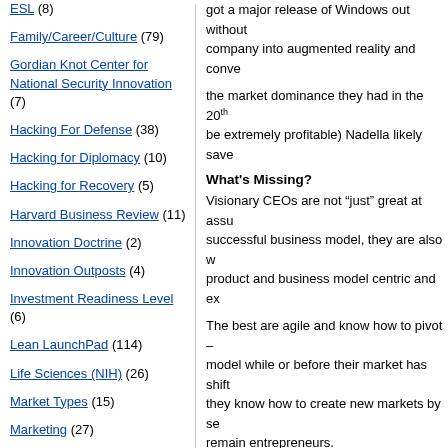ESL (8)
Family/Career/Culture (79)
Gordian Knot Center for National Security Innovation (7)
Hacking For Defense (38)
Hacking for Diplomacy (10)
Hacking for Recovery (5)
Harvard Business Review (11)
Innovation Doctrine (2)
Innovation Outposts (4)
Investment Readiness Level (6)
Lean LaunchPad (114)
Life Sciences (NIH) (26)
Market Types (15)
Marketing (27)
got a major release of Windows out without company into augmented reality and conve the market dominance they had in the 20th be extremely profitable) Nadella likely save
What's Missing?
Visionary CEOs are not "just" great at assu successful business model, they are also w product and business model centric and ex
The best are agile and know how to pivot – model while or before their market has shift they know how to create new markets by se remain entrepreneurs.
[Figure (continuous-plot): S-curve diagram showing 'Sweet spot for Transformation' on the left with an open circle on a black line, a red dot at the intersection of a blue curve and a green curve labeled 'Transformation' and 'Current Business'. X-axis labeled 'Time'. Open circle at bottom of blue curve.]
transformation – from a new computer distr